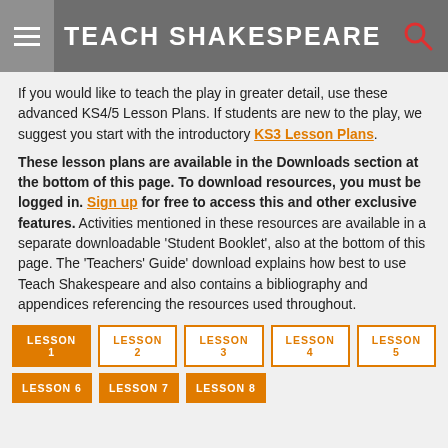TEACH SHAKESPEARE
If you would like to teach the play in greater detail, use these advanced KS4/5 Lesson Plans. If students are new to the play, we suggest you start with the introductory KS3 Lesson Plans.
These lesson plans are available in the Downloads section at the bottom of this page. To download resources, you must be logged in. Sign up for free to access this and other exclusive features. Activities mentioned in these resources are available in a separate downloadable 'Student Booklet', also at the bottom of this page. The 'Teachers' Guide' download explains how best to use Teach Shakespeare and also contains a bibliography and appendices referencing the resources used throughout.
LESSON 1
LESSON 2
LESSON 3
LESSON 4
LESSON 5